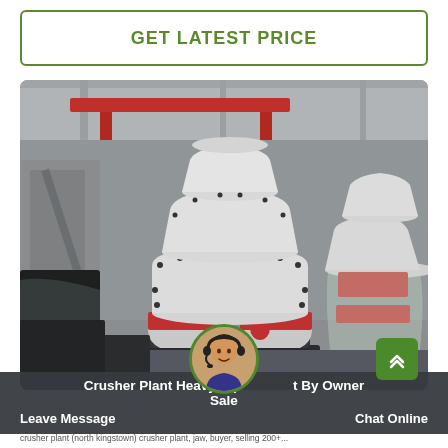GET LATEST PRICE
[Figure (photo): Industrial cone crusher machines photographed inside a factory/warehouse. Large white cone crushers with red accent bands visible, along with red overhead crane and industrial structure in background.]
Crusher Plant Heavy Equipment By Owner Sale
Leave Message
Chat Online
crusher plant (north kingstown) crusher plant, jaw, buyer, selling 200+...